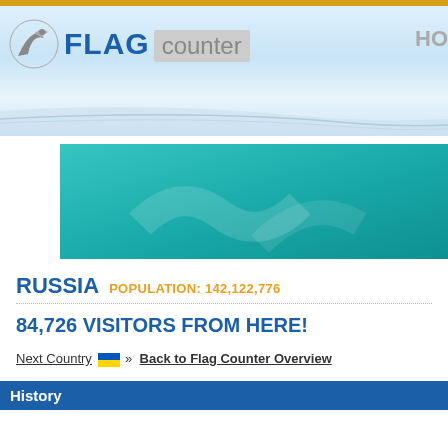[Figure (logo): Flag Counter logo with eagle icon, FLAG in blue bold text, counter in gray rounded rectangle]
[Figure (infographic): Teal/turquoise advertisement banner reading 'Emergency Alerts sa' (text cut off)]
RUSSIA POPULATION: 142,122,776
84,726 VISITORS FROM HERE!
Next Country » Back to Flag Counter Overview
History